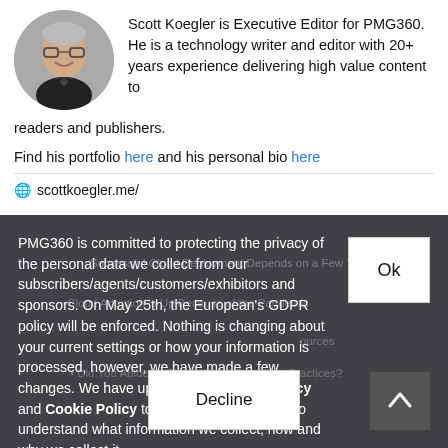[Figure (photo): Circular headshot of Scott Koegler, smiling man with glasses and bow tie]
Scott Koegler is Executive Editor for PMG360. He is a technology writer and editor with 20+ years experience delivering high value content to readers and publishers.
Find his portfolio here and his personal bio here
scottkoegler.me/
PMG360 is committed to protecting the privacy of the personal data we collect from our subscribers/agents/customers/exhibitors and sponsors. On May 25th, the European's GDPR policy will be enforced. Nothing is changing about your current settings or how your information is processed, however, we have made a few changes. We have updated our Privacy Policy and Cookie Policy to make it easier for you to understand what information we collect, how and why we collect it.
Ok
Decline